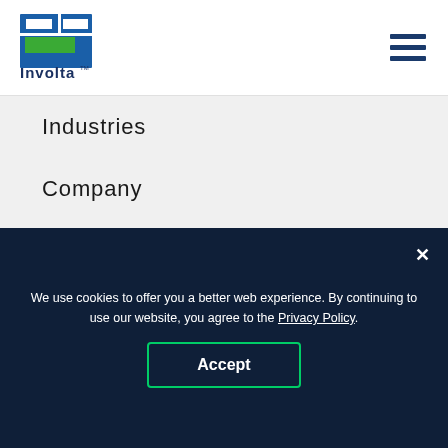[Figure (logo): Involta logo — blue and green rectangular grid icon with 'Involta' text below and TM mark]
Industries
Company
Contact
855-364-3061
[Figure (illustration): Three social media icon circles: LinkedIn, Facebook, Twitter]
We use cookies to offer you a better web experience. By continuing to use our website, you agree to the Privacy Policy.
Accept